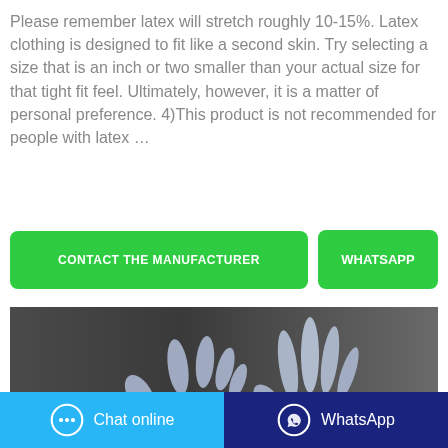Please remember latex will stretch roughly 10-15%. Latex clothing is designed to fit like a second skin. Try selecting a size that is an inch or two smaller than your actual size for that tight fit feel. Ultimately, however, it is a matter of personal preference. 4)This product is not recommended for people with latex …
[Figure (screenshot): Two green buttons: 'CONTACT THE MANUFACTURER' and 'WHATSAPP']
[Figure (photo): Photo of two hands wearing blue latex gloves against a dark background]
[Figure (screenshot): Bottom bar with two buttons: light blue 'Chat online' with chat bubble icon, and dark blue 'WhatsApp' with WhatsApp logo]